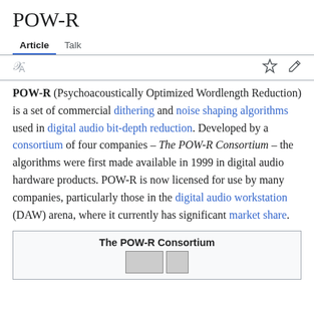POW-R
Article  Talk
POW-R (Psychoacoustically Optimized Wordlength Reduction) is a set of commercial dithering and noise shaping algorithms used in digital audio bit-depth reduction. Developed by a consortium of four companies – The POW-R Consortium – the algorithms were first made available in 1999 in digital audio hardware products. POW-R is now licensed for use by many companies, particularly those in the digital audio workstation (DAW) arena, where it currently has significant market share.
The POW-R Consortium